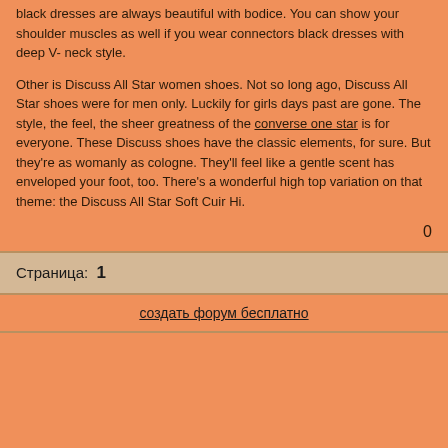black dresses are always beautiful with bodice. You can show your shoulder muscles as well if you wear connectors black dresses with deep V- neck style.
Other is Discuss All Star women shoes. Not so long ago, Discuss All Star shoes were for men only. Luckily for girls days past are gone. The style, the feel, the sheer greatness of the converse one star is for everyone. These Discuss shoes have the classic elements, for sure. But they're as womanly as cologne. They'll feel like a gentle scent has enveloped your foot, too. There's a wonderful high top variation on that theme: the Discuss All Star Soft Cuir Hi.
0
Страница:  1
создать форум бесплатно